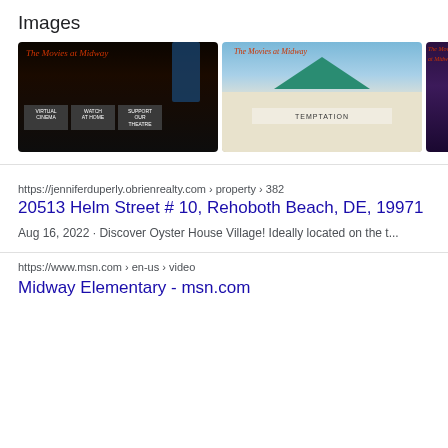Images
[Figure (photo): Three images of 'The Movies at Midway' cinema. Left: nighttime exterior with neon signs reading 'Virtual Cinema', 'Watch at Home', 'Support our Theatre'. Center: daytime exterior with teal roof and marquee reading 'Temptation'. Right: partially visible nighttime/purple-toned exterior.]
https://jenniferduperly.obrienrealty.com › property › 382
20513 Helm Street # 10, Rehoboth Beach, DE, 19971
Aug 16, 2022 · Discover Oyster House Village! Ideally located on the t...
https://www.msn.com › en-us › video
Midway Elementary - msn.com